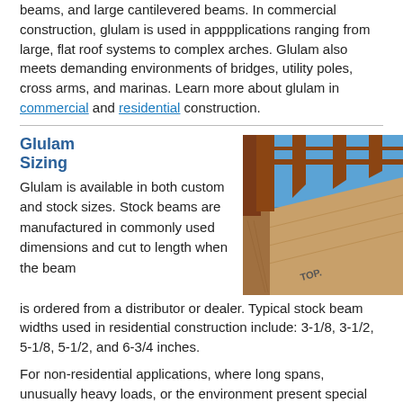beams, and large cantilevered beams. In commercial construction, glulam is used in applications ranging from large, flat roof systems to complex arches. Glulam also meets demanding environments of bridges, utility poles, cross arms, and marinas. Learn more about glulam in commercial and residential construction.
Glulam Sizing
Glulam is available in both custom and stock sizes. Stock beams are manufactured in commonly used dimensions and cut to length when the beam is ordered from a distributor or dealer. Typical stock beam widths used in residential construction include: 3-1/8, 3-1/2, 5-1/8, 5-1/2, and 6-3/4 inches.
[Figure (photo): Photo of glulam beams being used in construction, showing large laminated lumber beams with 'TOP' marked, viewed from below against a blue sky with framing structure visible.]
For non-residential applications, where long spans, unusually heavy loads, or the environment present special design requirements and